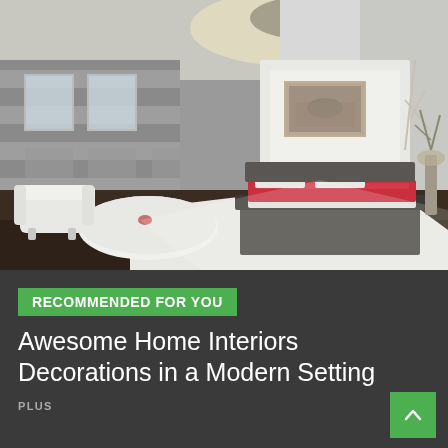[Figure (photo): Modern bedroom interior with grey walls, striped accent wall, platform bed with red bedding, white oval coffee table, white armchair, large windows, dark hardwood floor, and decorative floral ceiling fixture with glowing ceiling light.]
RECOMMENDED FOR YOU
Awesome Home Interiors Decorations in a Modern Setting
PLUS